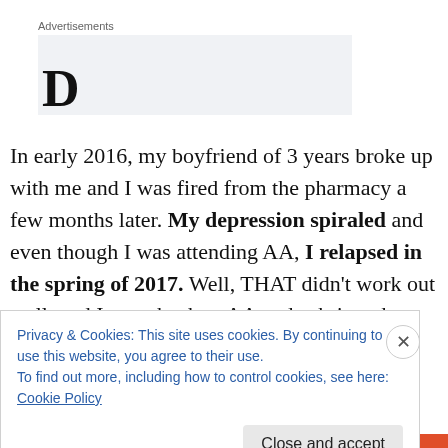Advertisements
[Figure (other): Advertisement placeholder box with partial large bold text visible at bottom]
In early 2016, my boyfriend of 3 years broke up with me and I was fired from the pharmacy a few months later. My depression spiraled and even though I was attending AA, I relapsed in the spring of 2017. Well, THAT didn't work out well, and I went back to AA and sobriety that
Privacy & Cookies: This site uses cookies. By continuing to use this website, you agree to their use.
To find out more, including how to control cookies, see here: Cookie Policy
Close and accept